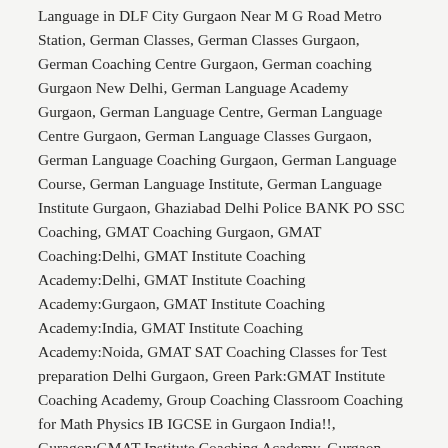Language in DLF City Gurgaon Near M G Road Metro Station, German Classes, German Classes Gurgaon, German Coaching Centre Gurgaon, German coaching Gurgaon New Delhi, German Language Academy Gurgaon, German Language Centre, German Language Centre Gurgaon, German Language Classes Gurgaon, German Language Coaching Gurgaon, German Language Course, German Language Institute, German Language Institute Gurgaon, Ghaziabad Delhi Police BANK PO SSC Coaching, GMAT Coaching Gurgaon, GMAT Coaching:Delhi, GMAT Institute Coaching Academy:Delhi, GMAT Institute Coaching Academy:Gurgaon, GMAT Institute Coaching Academy:India, GMAT Institute Coaching Academy:Noida, GMAT SAT Coaching Classes for Test preparation Delhi Gurgaon, Green Park:GMAT Institute Coaching Academy, Group Coaching Classroom Coaching for Math Physics IB IGCSE in Gurgaon India!!, Guragon:GMAT Institute Coaching Academy, Gurgaon Academy Coaching Centre Private Institute for IX-X-XI-XIIth Classes All Subjects, Gurgaon Academy Coaching Classes Learning Centre for Language:German Spanish French Hindi English, Gurgaon Academy coaching Institute for Languages, Gurgaon Academy for Foreign Languages:German Spanish French English, Gurgaon Academy